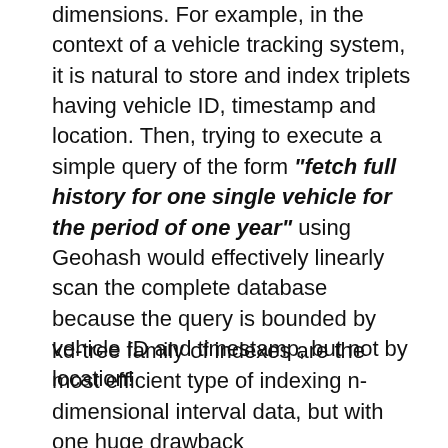dimensions. For example, in the context of a vehicle tracking system, it is natural to store and index triplets having vehicle ID, timestamp and location. Then, trying to execute a simple query of the form "fetch full history for one single vehicle for the period of one year" using Geohash would effectively linearly scan the complete database because the query is bounded by vehicle ID and timestamp, but not by location!
kd-tree family of indexes are the most efficient type of indexing n-dimensional interval data, but with one huge drawback